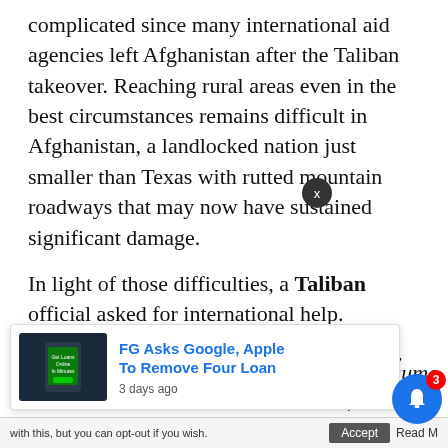complicated since many international aid agencies left Afghanistan after the Taliban takeover. Reaching rural areas even in the best circumstances remains difficult in Afghanistan, a landlocked nation just smaller than Texas with rutted mountain roadways that may now have sustained significant damage.
In light of those difficulties, a Taliban official asked for international help.
“When such a big incident happens in any
[Figure (screenshot): Advertisement overlay: FG Asks Google, Apple To Remove Four Loan - 3 days ago, with an image of a mobile phone screen showing Get Loans Online In Minutes]
om other
with this, but you can opt-out if you wish.
Accept
Read M